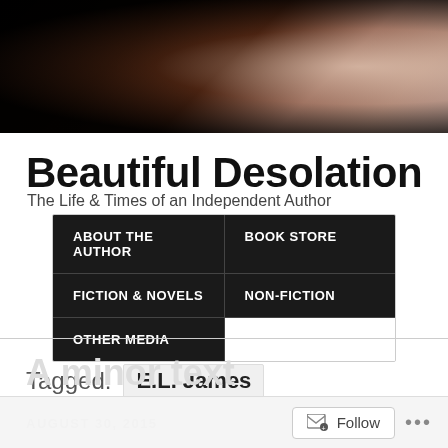[Figure (photo): Dark banner header image showing hands or flowing fabric in dark/warm tones against black background]
Beautiful Desolation
The Life & Times of an Independent Author
ABOUT THE AUTHOR
BOOK STORE
FICTION & NOVELS
NON-FICTION
OTHER MEDIA
Tagged:  E.L. James
AUGUST 30, 2015
A minor text